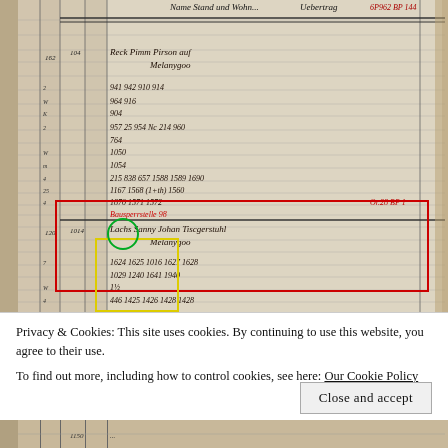[Figure (photo): Scanned historical ledger page in German, handwritten entries with columns for numbers and names/references. Contains annotations: a red rectangle highlight, a yellow rectangle highlight, and a green circle highlight around specific entries. Visible text includes 'Name Stand und Wohn...' header, 'Uebertrag', page reference '6P962 BP 144', handwritten names and numbers including 'Reck Pimm Pirson auf Melanygoo', various sequence numbers (941-1692), another entry 'Lachs Sanny Johan Tiscgerstuhl Melanygoo', and more numbers. Red annotation text visible. Red ink notation 'Or.28 BP 1' in right margin.]
Privacy & Cookies: This site uses cookies. By continuing to use this website, you agree to their use.
To find out more, including how to control cookies, see here: Our Cookie Policy
Close and accept
[Figure (photo): Bottom strip showing another portion of the same historical ledger, partially visible.]